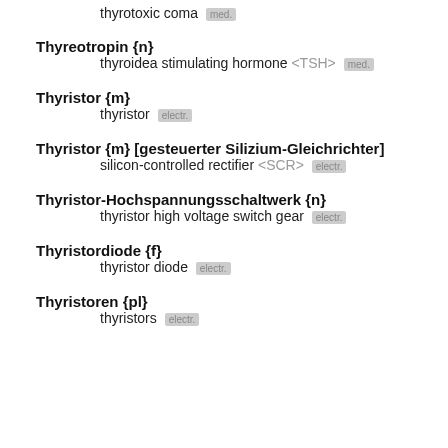thyrotoxic coma [med.]
Thyreotropin {n} — thyroidea stimulating hormone <TSH> [med.]
Thyristor {m} — thyristor [electr.]
Thyristor {m} [gesteuerter Silizium-Gleichrichter] — silicon-controlled rectifier <SCR> [electr.]
Thyristor-Hochspannungsschaltwerk {n} — thyristor high voltage switch gear [electr.]
Thyristordiode {f} — thyristor diode [electr.]
Thyristoren {pl} — thyristors [electr.]